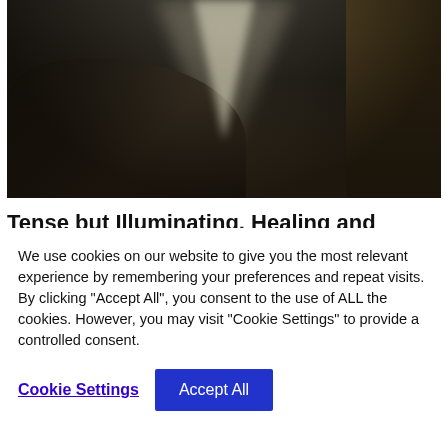[Figure (photo): A dramatic cave interior with a brilliant shaft of light streaming down from an opening at the top, illuminating dark rocky terrain below. The cave walls are dark brown and grey, with the right wall showing warm ochre tones.]
Tense but Illuminating, Healing and Centering Full Moon March 2022
We use cookies on our website to give you the most relevant experience by remembering your preferences and repeat visits. By clicking "Accept All", you consent to the use of ALL the cookies. However, you may visit "Cookie Settings" to provide a controlled consent.